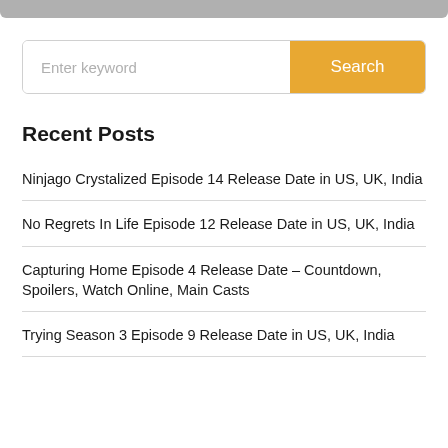[Figure (screenshot): Top navigation bar, grey/dark rounded strip at top of page]
Recent Posts
Ninjago Crystalized Episode 14 Release Date in US, UK, India
No Regrets In Life Episode 12 Release Date in US, UK, India
Capturing Home Episode 4 Release Date – Countdown, Spoilers, Watch Online, Main Casts
Trying Season 3 Episode 9 Release Date in US, UK, India